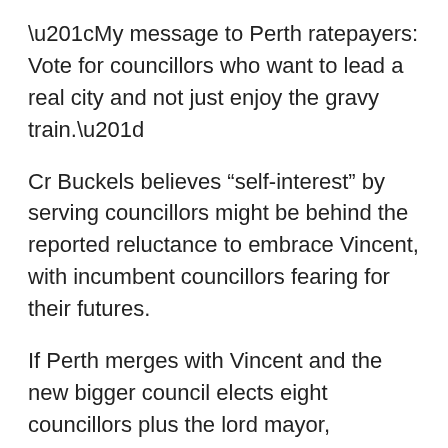“My message to Perth ratepayers: Vote for councillors who want to lead a real city and not just enjoy the gravy train.”
Cr Buckels believes “self-interest” by serving councillors might be behind the reported reluctance to embrace Vincent, with incumbent councillors fearing for their futures.
If Perth merges with Vincent and the new bigger council elects eight councillors plus the lord mayor, residents of what is now Vincent will have significant voting power, and be able to command half or more of the council. Cr Buckels describes the premier’s preferred split-plan as madness.
“Whichever genius decided Beaufort Street would benefit from having not one, not two, but three local governments